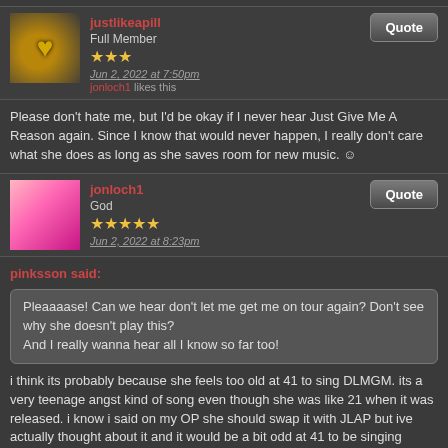justlikeapill
Full Member
★★★
Jun 2, 2022 at 7:50pm
jonloch1 likes this
Please don't hate me, but I'd be okay if I never hear Just Give Me A Reason again. Since I know that would never happen, I really don't care what she does as long as she saves room for new music. 😊
jonloch1
God
★★★★★
Jun 2, 2022 at 8:23pm
pinksson said:
Pleaaaase! Can we hear don't let me get me on tour again? Don't see why she doesn't play this?
And I really wanna hear all I know so far too!
i think its probably because she feels too old at 41 to sing DLMGM. its a very teenage angst kind of song even though she was like 21 when it was released. i know i said on my OP she should swap it with JLAP but ive actually thought about it and it would be a bit odd at 41 to be singing 'teachers dated me, my parents hated me'. its quite a juvenile song that at 41 pink might feel weird singing now. Same as i cant see her singing